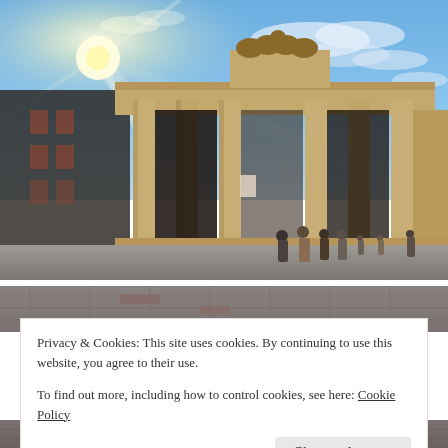[Figure (photo): Photograph of the Brandenburg Gate in Berlin, Germany. Sunlight flares from the upper left. Several columns of the neoclassical gate are visible with the Quadriga statue on top. People are walking in the foreground plaza under a blue sky with clouds.]
[Figure (photo): Partial view of stone pavement/cobblestones, dark reddish-gray tones, shown as a narrow strip.]
Privacy & Cookies: This site uses cookies. By continuing to use this website, you agree to their use.
To find out more, including how to control cookies, see here: Cookie Policy
Close and accept
[Figure (photo): Partial view of stone pavement/cobblestones at the bottom edge of the page.]